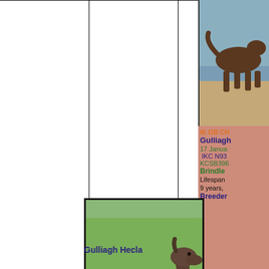[Figure (photo): Partial dog photo at top right, showing a dog on a beach/outdoor background, clipped at right edge]
IE GB CH
Gulliagh
17 Janua
IKC N93
KCSB396
Brindle
Lifespan 9 years,
Breeder
[Figure (photo): Full body side-profile photo of a large dark brindle Irish Wolfhound-type dog standing on grass]
Gulliagh Hecla